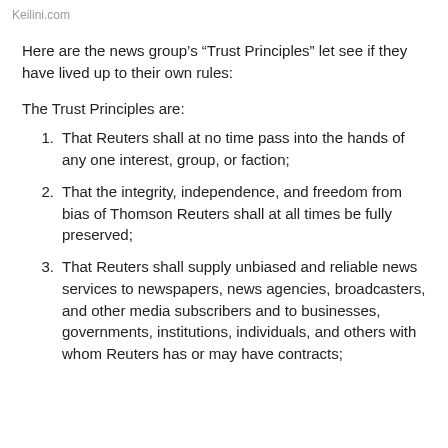Keilini.com
Here are the news group’s “Trust Principles” let see if they have lived up to their own rules:
The Trust Principles are:
That Reuters shall at no time pass into the hands of any one interest, group, or faction;
That the integrity, independence, and freedom from bias of Thomson Reuters shall at all times be fully preserved;
That Reuters shall supply unbiased and reliable news services to newspapers, news agencies, broadcasters, and other media subscribers and to businesses, governments, institutions, individuals, and others with whom Reuters has or may have contracts;